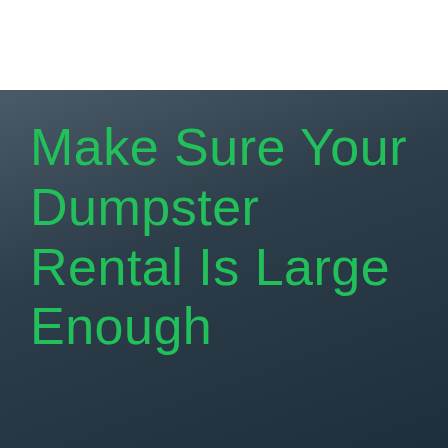Make Sure Your Dumpster Rental Is Large Enough